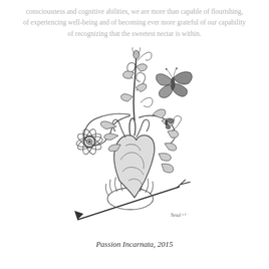consciousness and cognitive abilities, we are more than capable of flourishing, of experiencing well-being and of becoming ever more grateful of our capability of recognizing that the sweetest nectar is within.
[Figure (illustration): Black and white pen illustration of an anatomical human heart with plants, flowers (including a passion flower), vines, leaves, tendrils, a butterfly, and an arrow through it, held by hands. Signed 'Netal 15' in lower right. Title area below.]
Passion Incarnata, 2015